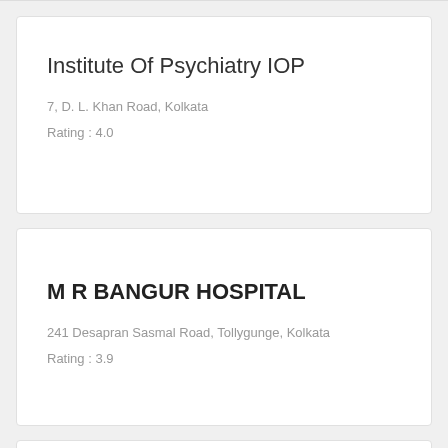Institute Of Psychiatry IOP
7, D. L. Khan Road, Kolkata
Rating : 4.0
M R BANGUR HOSPITAL
241 Desapran Sasmal Road, Tollygunge, Kolkata
Rating : 3.9